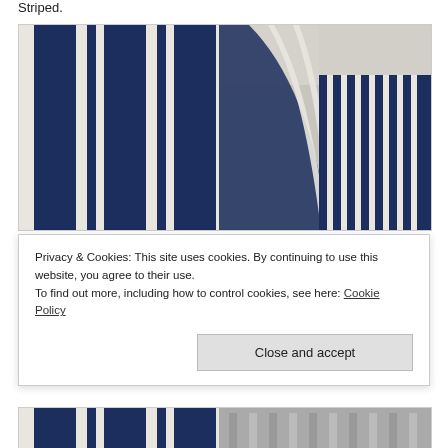Striped.
[Figure (photo): Two photos side by side: left shows a close-up flat lay of navy blue and white wide-stripe fabric; right shows a folded/draped navy blue and white narrow-stripe fabric on a light surface.]
Privacy & Cookies: This site uses cookies. By continuing to use this website, you agree to their use.
To find out more, including how to control cookies, see here: Cookie Policy
Close and accept
[Figure (photo): Bottom partial view of two more striped fabric photos similar to above.]